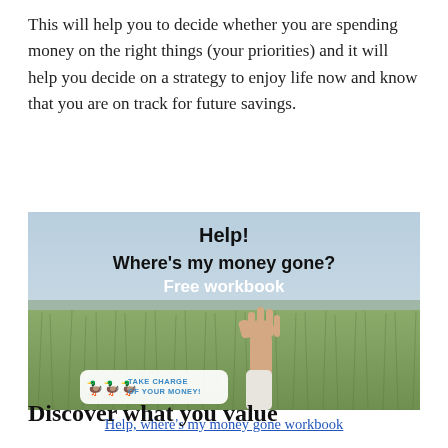This will help you to decide whether you are spending money on the right things (your priorities) and it will help you decide on a strategy to enjoy life now and know that you are on track for future savings.
[Figure (photo): Photo of a field of tall grass with a hand raised above the grass, overlaid with text reading 'Help! Where's my money gone? Free workbook' and a logo badge in the lower left reading 'TAKE CHARGE OF YOUR MONEY!' with duck icons.]
Help, where's my money gone workbook
Discover what you value